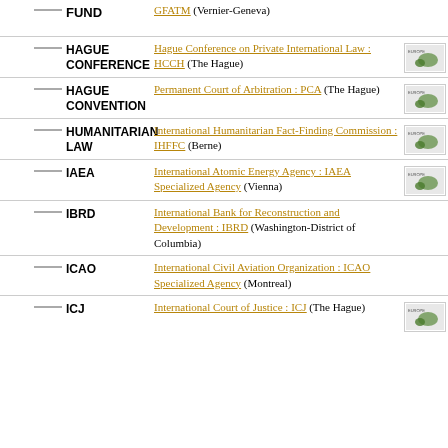FUND — GFATM (Vernier-Geneva)
HAGUE CONFERENCE — Hague Conference on Private International Law : HCCH (The Hague)
HAGUE CONVENTION — Permanent Court of Arbitration : PCA (The Hague)
HUMANITARIAN LAW — International Humanitarian Fact-Finding Commission : IHFFC (Berne)
IAEA — International Atomic Energy Agency : IAEA Specialized Agency (Vienna)
IBRD — International Bank for Reconstruction and Development : IBRD (Washington-District of Columbia)
ICAO — International Civil Aviation Organization : ICAO Specialized Agency (Montreal)
ICJ — International Court of Justice : ICJ (The Hague)